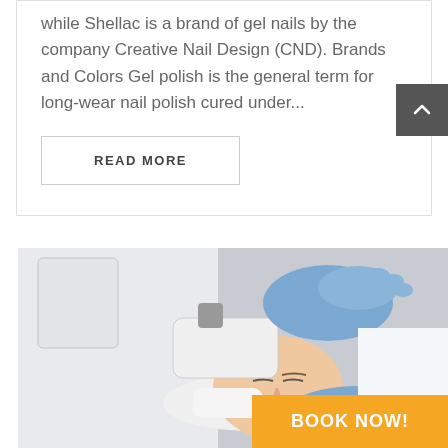while Shellac is a brand of gel nails by the company Creative Nail Design (CND). Brands and Colors Gel polish is the general term for long-wear nail polish cured under...
READ MORE
[Figure (photo): A woman lying with eyes closed receiving a facial treatment from a practitioner wearing blue gloves, holding a white device near her face. Clinical/spa setting.]
BOOK NOW!